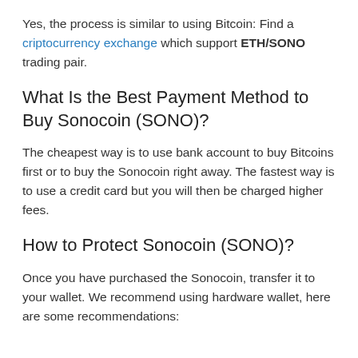Yes, the process is similar to using Bitcoin: Find a criptocurrency exchange which support ETH/SONO trading pair.
What Is the Best Payment Method to Buy Sonocoin (SONO)?
The cheapest way is to use bank account to buy Bitcoins first or to buy the Sonocoin right away. The fastest way is to use a credit card but you will then be charged higher fees.
How to Protect Sonocoin (SONO)?
Once you have purchased the Sonocoin, transfer it to your wallet. We recommend using hardware wallet, here are some recommendations: